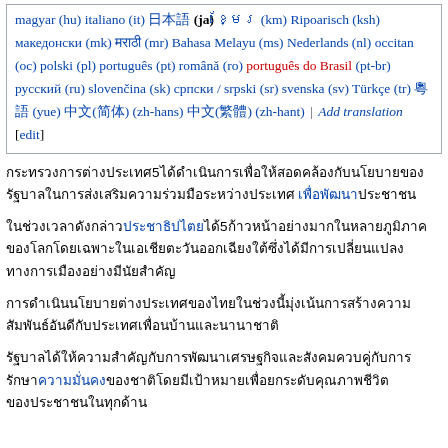magyar (hu) italiano (it) 日本語 (ja) ខ្មែរ (km) Ripoarisch (ksh) македонски (mk) मराठी (mr) Bahasa Melayu (ms) Nederlands (nl) occitan (oc) polski (pl) português (pt) română (ro) português do Brasil (pt-br) русский (ru) slovenčina (sk) српски / srpski (sr) svenska (sv) Türkçe (tr) 粵語 (yue) 中文(简体) (zh-hans) 中文(繁體) (zh-hant) | Add translation [edit]
Thai paragraph 1 with reference to 5 items.
Thai paragraph 2 with link and 5 items.
Thai paragraph 3.
Thai paragraph 4 with link.